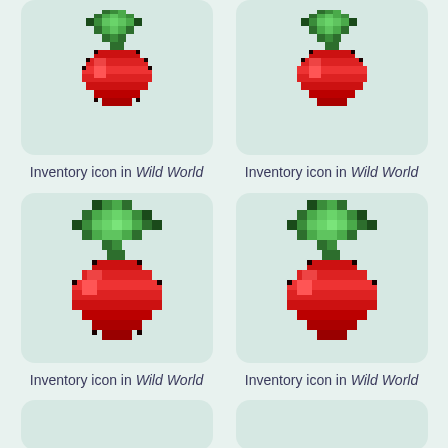[Figure (illustration): Pixel art inventory icon of a red radish with green leaves on a light mint green rounded square background]
[Figure (illustration): Pixel art inventory icon of a red radish with green leaves on a light mint green rounded square background]
Inventory icon in Wild World
Inventory icon in Wild World
[Figure (illustration): Pixel art inventory icon of a red radish with green leaves on a light mint green rounded square background]
[Figure (illustration): Pixel art inventory icon of a red radish with green leaves on a light mint green rounded square background]
Inventory icon in Wild World
Inventory icon in Wild World
[Figure (illustration): Partial pixel art inventory icon of a red radish with green leaves on a light mint green rounded square background (cropped)]
[Figure (illustration): Partial pixel art inventory icon of a red radish with green leaves on a light mint green rounded square background (cropped)]